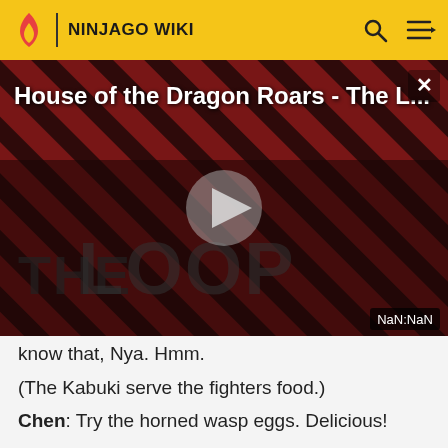NINJAGO WIKI
[Figure (screenshot): Video player showing 'House of the Dragon Roars - The L...' with a play button in the center, diagonal red and black striped background with silhouettes of people, 'THE LOOP' text visible, and 'NaN:NaN' timestamp in bottom right corner. A close (X) button is in the top right.]
know that, Nya. Hmm.
(The Kabuki serve the fighters food.)
Chen: Try the horned wasp eggs. Delicious!